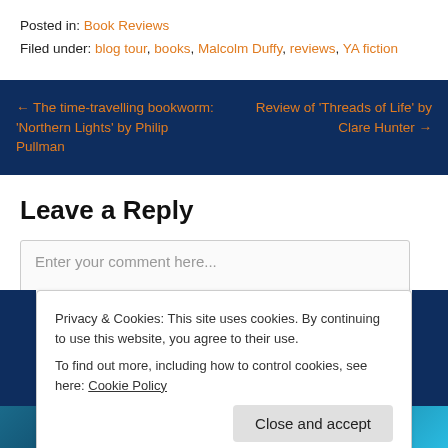Posted in: Book Reviews
Filed under: blog tour, books, Malcolm Duffy, reviews, YA fiction
← The time-travelling bookworm: 'Northern Lights' by Philip Pullman
Review of 'Threads of Life' by Clare Hunter →
Leave a Reply
Enter your comment here...
Privacy & Cookies: This site uses cookies. By continuing to use this website, you agree to their use.
To find out more, including how to control cookies, see here: Cookie Policy
Close and accept